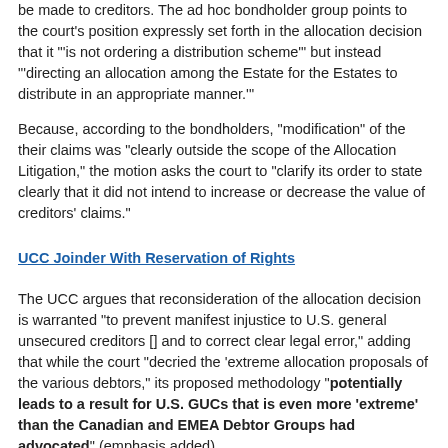be made to creditors. The ad hoc bondholder group points to the court's position expressly set forth in the allocation decision that it "'is not ordering a distribution scheme'" but instead "'directing an allocation among the Estate for the Estates to distribute in an appropriate manner.'"
Because, according to the bondholders, "modification" of the their claims was "clearly outside the scope of the Allocation Litigation," the motion asks the court to "clarify its order to state clearly that it did not intend to increase or decrease the value of creditors' claims."
UCC Joinder With Reservation of Rights
The UCC argues that reconsideration of the allocation decision is warranted "to prevent manifest injustice to U.S. general unsecured creditors [] and to correct clear legal error," adding that while the court "decried the 'extreme allocation proposals of the various debtors," its proposed methodology "potentially leads to a result for U.S. GUCs that is even more 'extreme' than the Canadian and EMEA Debtor Groups had advocated" (emphasis added).
In its motion, like other movants, the UCC stresses that the allocation trial courts based its allocation of assets to determine its...